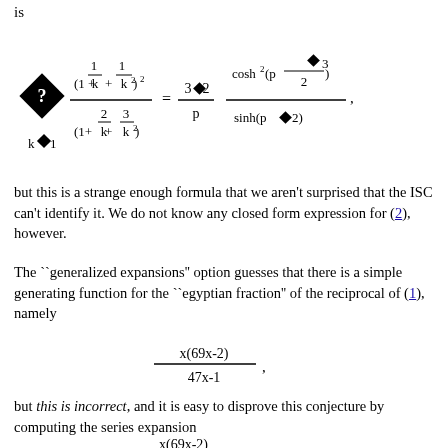is
but this is a strange enough formula that we aren't surprised that the ISC can't identify it. We do not know any closed form expression for (2), however.
The ``generalized expansions'' option guesses that there is a simple generating function for the ``egyptian fraction'' of the reciprocal of (1), namely
but this is incorrect, and it is easy to disprove this conjecture by computing the series expansion